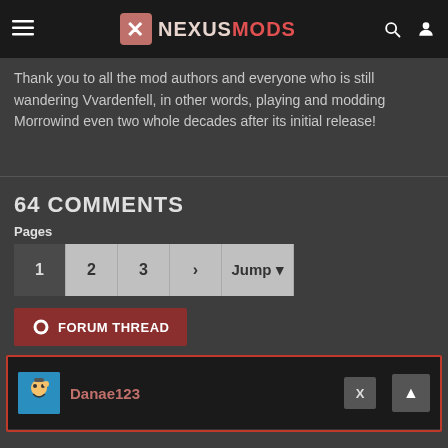NEXUSMODS
Thank you to all the mod authors and everyone who is still wandering Vvardenfell, in other words, playing and modding Morrowind even two whole decades after its initial release!
64 COMMENTS
Pages  1  2  3  >  Jump
FORUM THREAD
Danae123